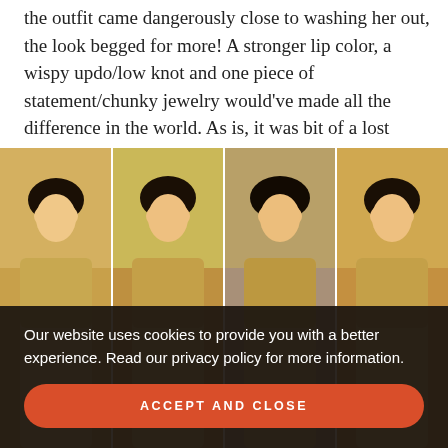the outfit came dangerously close to washing her out, the look begged for more! A stronger lip color, a wispy updo/low knot and one piece of statement/chunky jewelry would've made all the difference in the world. As is, it was bit of a lost opportunity.
[Figure (photo): Four-panel photo collage of a woman in a gold/champagne embellished crop top and skirt outfit at what appears to be an indoor event, shown from four different angles]
Our website uses cookies to provide you with a better experience. Read our privacy policy for more information.
ACCEPT AND CLOSE